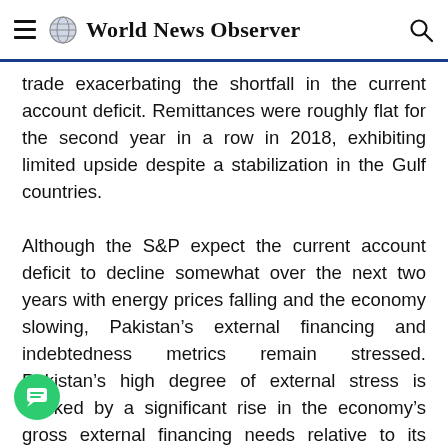World News Observer
trade exacerbating the shortfall in the current account deficit. Remittances were roughly flat for the second year in a row in 2018, exhibiting limited upside despite a stabilization in the Gulf countries.
Although the S&P expect the current account deficit to decline somewhat over the next two years with energy prices falling and the economy slowing, Pakistan’s external financing and indebtedness metrics remain stressed. Pakistan’s high degree of external stress is marked by a significant rise in the economy’s gross external financing needs relative to its current account receipts and reserves. The S&P f...